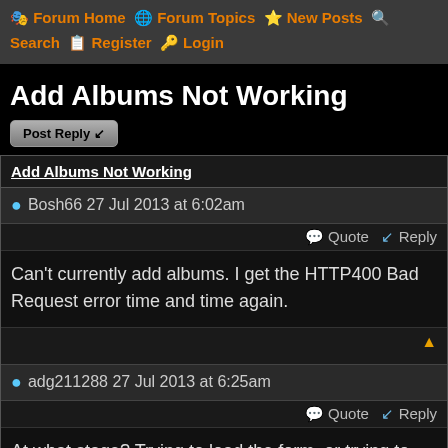🎭 Forum Home 🌐 Forum Topics ⭐ New Posts 🔍 Search 📋 Register 🔑 Login
Add Albums Not Working
Post Reply 📥
Add Albums Not Working
● Bosh66 27 Jul 2013 at 6:02am
💬 Quote 📥 Reply
Can't currently add albums. I get the HTTP400 Bad Request error time and time again.
▲
● adg211288 27 Jul 2013 at 6:25am
💬 Quote 📥 Reply
At what stage? Trying to load the form, or trying to